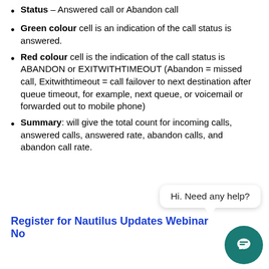Status – Answered call or Abandon call
Green colour cell is an indication of the call status is answered.
Red colour cell is the indication of the call status is ABANDON or EXITWITHTIMEOUT (Abandon = missed call, Exitwithtimeout = call failover to next destination after queue timeout, for example, next queue, or voicemail or forwarded out to mobile phone)
Summary: will give the total count for incoming calls, answered calls, answered rate, abandon calls, and abandon call rate.
Hi. Need any help?
Register for Nautilus Updates Webinar No